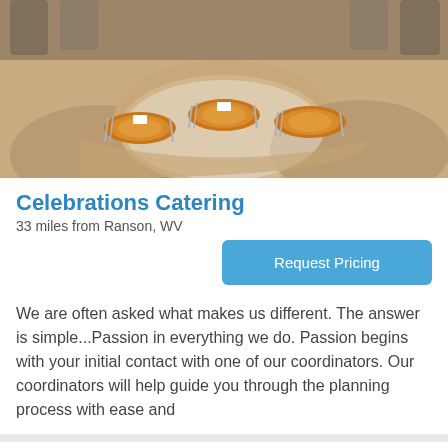[Figure (photo): Photo of a catering table setup with golden/amber charger plates, place cards, and silverware on round tables with white and tan linens.]
Celebrations Catering
33 miles from Ranson, WV
Request Pricing
We are often asked what makes us different. The answer is simple...Passion in everything we do. Passion begins with your initial contact with one of our coordinators. Our coordinators will help guide you through the planning process with ease and
Creative Fresh Expressions
Winchester, VA
Request Pricing
$25 per person   $350-$1,500 per event
We are an all around event planning company with catering